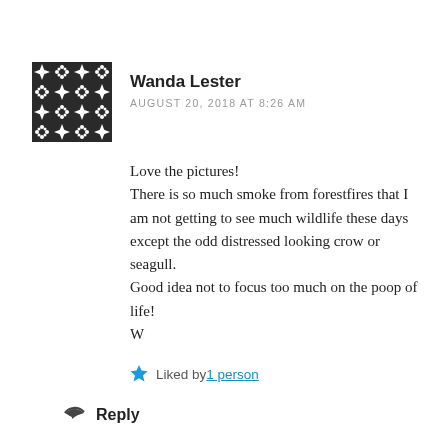[Figure (illustration): Geometric avatar with black and white diamond/star pattern in a grid layout]
Wanda Lester
AUGUST 20, 2018 AT 8:26 AM
Love the pictures!
There is so much smoke from forestfires that I am not getting to see much wildlife these days except the odd distressed looking crow or seagull.
Good idea not to focus too much on the poop of life!
W
Liked by 1 person
Reply